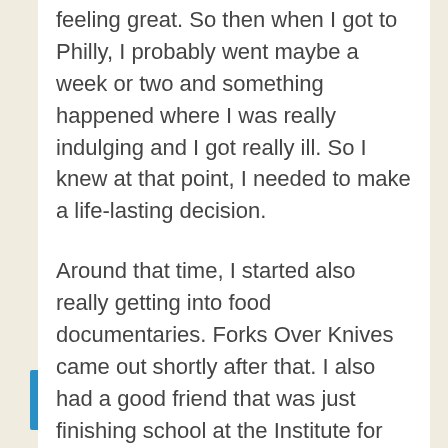feeling great. So then when I got to Philly, I probably went maybe a week or two and something happened where I was really indulging and I got really ill. So I knew at that point, I needed to make a life-lasting decision.
Around that time, I started also really getting into food documentaries. Forks Over Knives came out shortly after that. I also had a good friend that was just finishing school at the Institute for Integrative Nutrition in New York. She introduced me to that.
I remember that the quality...